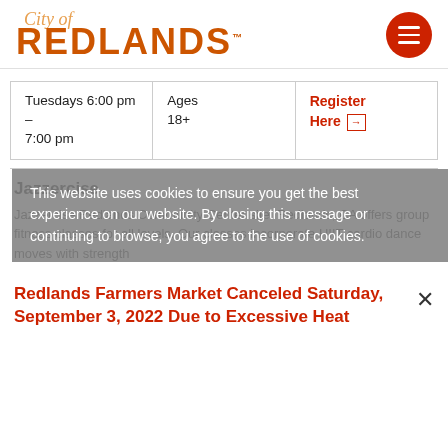[Figure (logo): City of Redlands logo with orange script 'City of' above bold uppercase 'REDLANDS' in dark orange, and a red circular hamburger menu icon on the right]
| Tuesdays 6:00 pm – 7:00 pm | Ages 18+ | Register Here → |
Jazzercise
Jazzercise Redlands Community Center site. Redlands, CA offers group fitness classes for all levels. Our classes incorporate HIIT cardio dance moves with strength
This website uses cookies to ensure you get the best experience on our website. By closing this message or continuing to browse, you agree to the use of cookies.
Redlands Farmers Market Canceled Saturday, September 3, 2022 Due to Excessive Heat